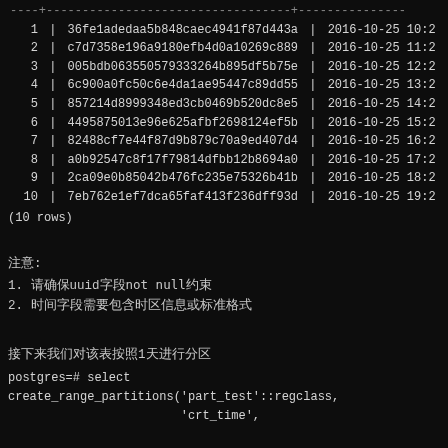| id | uuid | crt_time |
| --- | --- | --- |
| 1 | 36fe1adedaa5b848caec4941f87d443a | 2016-10-25 10:2 |
| 2 | c7d7358e196a9180efb4d0a10269c889 | 2016-10-25 11:2 |
| 3 | 005bdb063550579333264b895df5b75e | 2016-10-25 12:2 |
| 4 | 6c900a0fc50c6e4da1ae95447c89dd55 | 2016-10-25 13:2 |
| 5 | 857214d8999348ed3cb0469b520dc8e5 | 2016-10-25 14:2 |
| 6 | 4495875013e96e625afbf2698124ef5b | 2016-10-25 15:2 |
| 7 | 82488cf7e44f87d9b879c70a9ed407d4 | 2016-10-25 16:2 |
| 8 | a0b92547c8f17f79814dfbb12b8694a0 | 2016-10-25 17:2 |
| 9 | 2ca09e0b85042b476fc235e75326b41b | 2016-10-25 18:2 |
| 10 | 7eb762e1ef7dca65faf413f236dff93d | 2016-10-25 19:2 |
(10 rows)
注意:
1. 请确保uuid字段not null约束
2. 时间字段需要包含时区信息或标准格式
接下来我们对该表按照1天进行分区
postgres=# select
create_range_partitions('part_test'::regclass,
                        'crt_time',